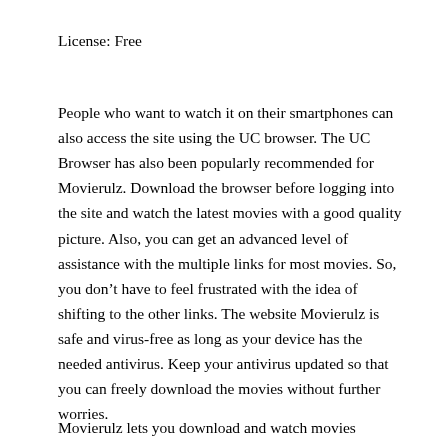License: Free
People who want to watch it on their smartphones can also access the site using the UC browser. The UC Browser has also been popularly recommended for Movierulz. Download the browser before logging into the site and watch the latest movies with a good quality picture. Also, you can get an advanced level of assistance with the multiple links for most movies. So, you don't have to feel frustrated with the idea of shifting to the other links. The website Movierulz is safe and virus-free as long as your device has the needed antivirus. Keep your antivirus updated so that you can freely download the movies without further worries.
Movierulz lets you download and watch movies...